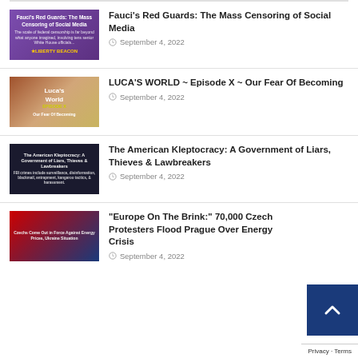Fauci's Red Guards: The Mass Censoring of Social Media — September 4, 2022
LUCA'S WORLD ~ Episode X ~ Our Fear Of Becoming — September 4, 2022
The American Kleptocracy: A Government of Liars, Thieves & Lawbreakers — September 4, 2022
"Europe On The Brink:" 70,000 Czech Protesters Flood Prague Over Energy Crisis — September 4, 2022